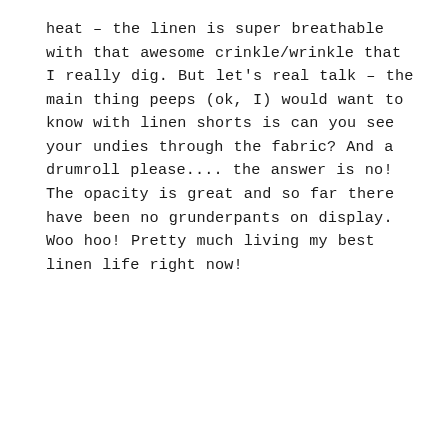heat – the linen is super breathable with that awesome crinkle/wrinkle that I really dig. But let's real talk – the main thing peeps (ok, I) would want to know with linen shorts is can you see your undies through the fabric? And a drumroll please.... the answer is no! The opacity is great and so far there have been no grunderpants on display. Woo hoo! Pretty much living my best linen life right now!